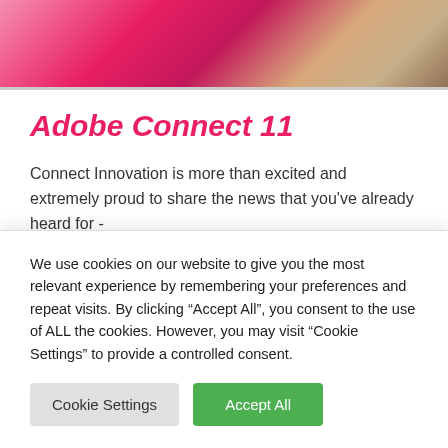[Figure (photo): Partial view of a pink/red laptop on a wooden desk, cropped at top of page]
Adobe Connect 11
Connect Innovation is more than excited and extremely proud to share the news that you've already heard for - Adobe Connect 11 is coming very soon. Since it has been released in America at the beginning of
We use cookies on our website to give you the most relevant experience by remembering your preferences and repeat visits. By clicking “Accept All”, you consent to the use of ALL the cookies. However, you may visit "Cookie Settings" to provide a controlled consent.
Cookie Settings | Accept All